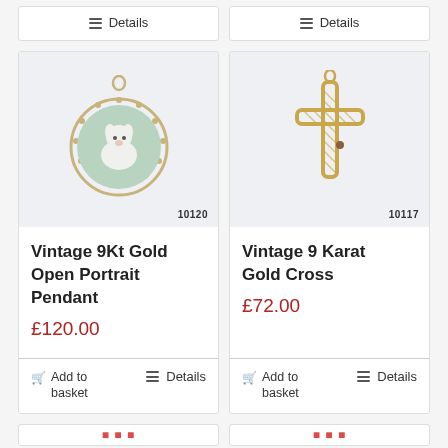Details
Details
[Figure (photo): Circular vintage gold pendant with portrait miniature of a white dog, item number 10120]
Vintage 9Kt Gold Open Portrait Pendant
£120.00
Add to basket
Details
[Figure (photo): Vintage 9 Karat gold twisted rope cross pendant, item number 10117]
Vintage 9 Karat Gold Cross
£72.00
Add to basket
Details